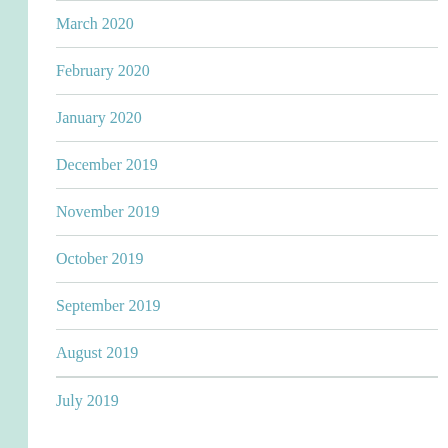March 2020
February 2020
January 2020
December 2019
November 2019
October 2019
September 2019
August 2019
July 2019